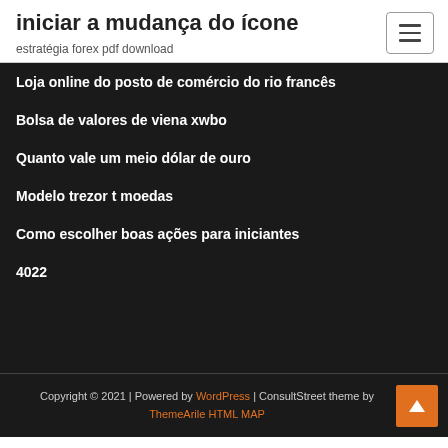iniciar a mudança do ícone
estratégia forex pdf download
Loja online do posto de comércio do rio francês
Bolsa de valores de viena xwbo
Quanto vale um meio dólar de ouro
Modelo trezor t moedas
Como escolher boas ações para iniciantes
4022
Copyright © 2021 | Powered by WordPress | ConsultStreet theme by ThemeArile HTML MAP